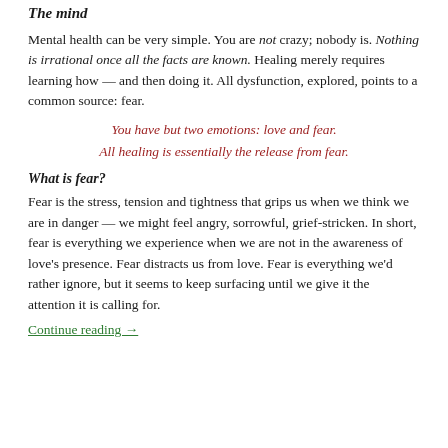The mind
Mental health can be very simple. You are not crazy; nobody is. Nothing is irrational once all the facts are known. Healing merely requires learning how — and then doing it. All dysfunction, explored, points to a common source: fear.
You have but two emotions: love and fear. All healing is essentially the release from fear.
What is fear?
Fear is the stress, tension and tightness that grips us when we think we are in danger — we might feel angry, sorrowful, grief-stricken. In short, fear is everything we experience when we are not in the awareness of love's presence. Fear distracts us from love. Fear is everything we'd rather ignore, but it seems to keep surfacing until we give it the attention it is calling for.
Continue reading →